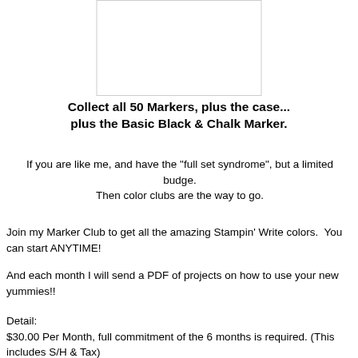[Figure (other): White rectangular image placeholder with border]
Collect all 50 Markers, plus the case... plus the Basic Black & Chalk Marker.
If you are like me, and have the "full set syndrome", but a limited budge.
Then color clubs are the way to go.
Join my Marker Club to get all the amazing Stampin' Write colors.  You can start ANYTIME!
And each month I will send a PDF of projects on how to use your new yummies!!
Detail:
$30.00 Per Month, full commitment of the 6 months is required. (This includes S/H & Tax)
Each month you will receive 8 markers, shipped from me to